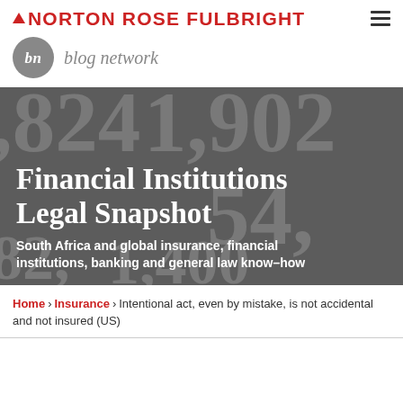NORTON ROSE FULBRIGHT
[Figure (logo): Norton Rose Fulbright logo with red caret and red text, plus blog network circular logo with 'bn' and italic 'blog network' text]
[Figure (photo): Hero banner image with dark grey background showing large blurred financial numbers, overlaid with white bold title 'Financial Institutions Legal Snapshot' and subtitle 'South Africa and global insurance, financial institutions, banking and general law know-how']
Financial Institutions Legal Snapshot
South Africa and global insurance, financial institutions, banking and general law know-how
Home > Insurance > Intentional act, even by mistake, is not accidental and not insured (US)